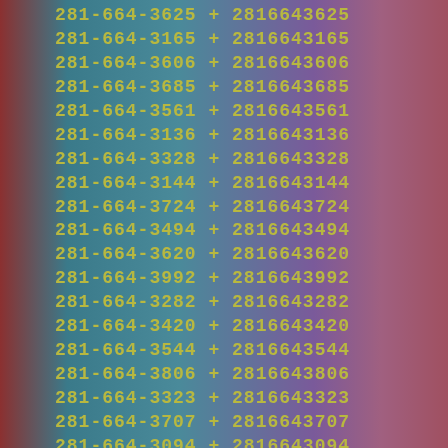281-664-3625 + 2816643625
281-664-3165 + 2816643165
281-664-3606 + 2816643606
281-664-3685 + 2816643685
281-664-3561 + 2816643561
281-664-3136 + 2816643136
281-664-3328 + 2816643328
281-664-3144 + 2816643144
281-664-3724 + 2816643724
281-664-3494 + 2816643494
281-664-3620 + 2816643620
281-664-3992 + 2816643992
281-664-3282 + 2816643282
281-664-3420 + 2816643420
281-664-3544 + 2816643544
281-664-3806 + 2816643806
281-664-3323 + 2816643323
281-664-3707 + 2816643707
281-664-3094 + 2816643094
281-664-3608 + 2816643608
281-664-3478 + 2816643478
281-664-3026 + 2816643026
281-664-3021 + 2816643021